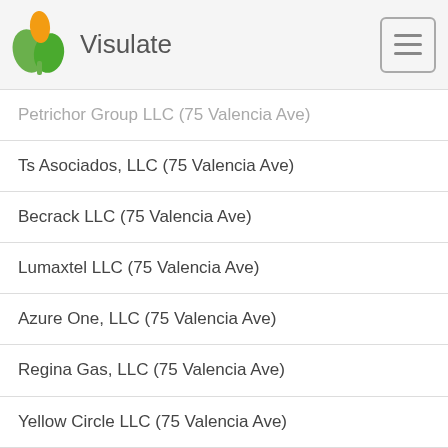Visulate
Petrichor Group LLC (75 Valencia Ave)
Ts Asociados, LLC (75 Valencia Ave)
Becrack LLC (75 Valencia Ave)
Lumaxtel LLC (75 Valencia Ave)
Azure One, LLC (75 Valencia Ave)
Regina Gas, LLC (75 Valencia Ave)
Yellow Circle LLC (75 Valencia Ave)
Steel Cube, LLC (75 Valencia Avenue Suite 703)
Citizens For Integrity, Inc (75 Valencia Avenue Suite 703)
Candado Investment Corp. (75 Valencia Avenue Suite 703)